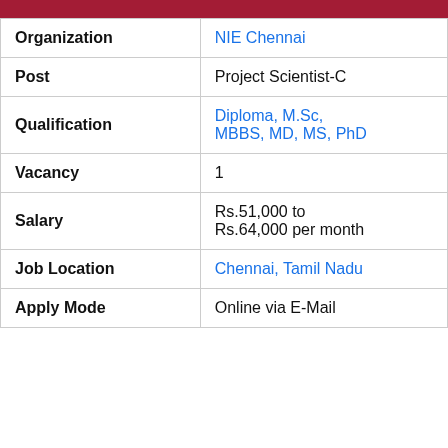| Field | Value |
| --- | --- |
| Organization | NIE Chennai |
| Post | Project Scientist-C |
| Qualification | Diploma, M.Sc, MBBS, MD, MS, PhD |
| Vacancy | 1 |
| Salary | Rs.51,000 to Rs.64,000 per month |
| Job Location | Chennai, Tamil Nadu |
| Apply Mode | Online via E-Mail |